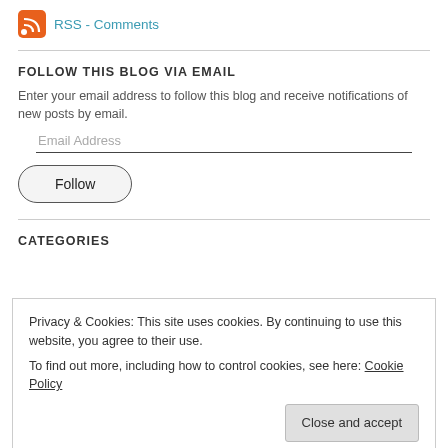RSS - Comments
FOLLOW THIS BLOG VIA EMAIL
Enter your email address to follow this blog and receive notifications of new posts by email.
Email Address
Follow
CATEGORIES
Privacy & Cookies: This site uses cookies. By continuing to use this website, you agree to their use.
To find out more, including how to control cookies, see here: Cookie Policy
Close and accept
sex (11)   Terrorism (27)   Treaty of Waitangi (5)